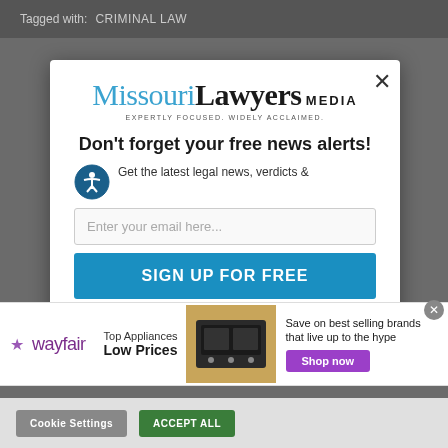Tagged with: CRIMINAL LAW
[Figure (logo): Missouri Lawyers Media logo with tagline EXPERTLY FOCUSED. WIDELY ACCLAIMED.]
Don't forget your free news alerts!
Get the latest legal news, verdicts &
Enter your email here...
SIGN UP FOR FREE
[Figure (infographic): Wayfair advertisement: Top Appliances Low Prices, image of a stove/range, Save on best selling brands that live up to the hype, Shop now button]
Cookie Settings
ACCEPT ALL